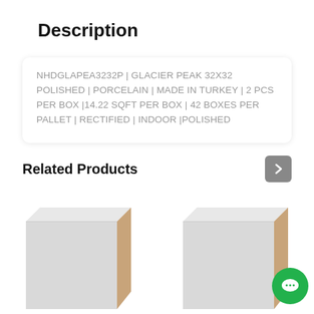Description
NHDGLAPEA3232P | GLACIER PEAK 32X32 POLISHED | PORCELAIN | MADE IN TURKEY | 2 PCS PER BOX |14.22 SQFT PER BOX | 42 BOXES PER PALLET | RECTIFIED | INDOOR |POLISHED
Related Products
[Figure (photo): Two porcelain tile product images shown side by side, each showing a light gray square tile with a beige/tan edge, angled view. A green chat button with ellipsis icon is visible in the bottom right corner.]